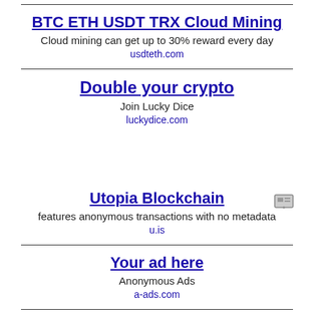BTC ETH USDT TRX Cloud Mining
Cloud mining can get up to 30% reward every day
usdteth.com
Double your crypto
Join Lucky Dice
luckydice.com
Utopia Blockchain
features anonymous transactions with no metadata
u.is
Your ad here
Anonymous Ads
a-ads.com
BTC ETH USDT TRX Cloud Mining
Cloud mining can get up to 30% reward every day